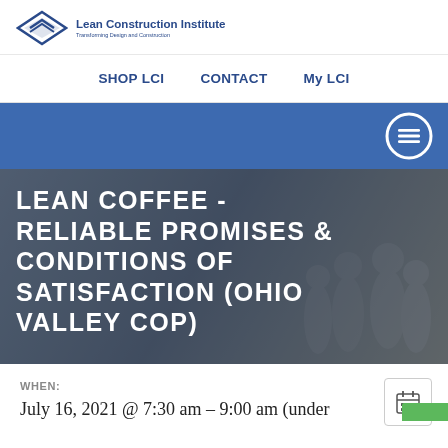[Figure (logo): Lean Construction Institute logo with diamond/arrow icon and text]
SHOP LCI   CONTACT   My LCI
[Figure (screenshot): Blue navigation banner with hamburger menu icon (three horizontal lines in a circle)]
LEAN COFFEE - RELIABLE PROMISES & CONDITIONS OF SATISFACTION (OHIO VALLEY COP)
WHEN:
July 16, 2021 @ 7:30 am – 9:00 am (under